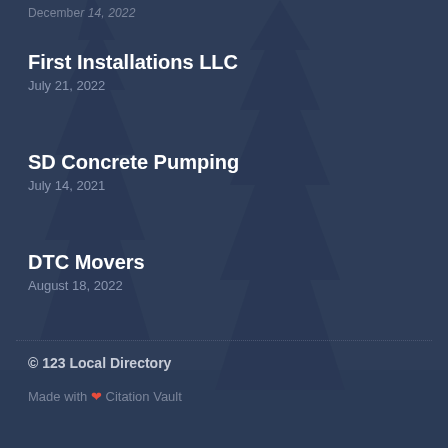[truncated text at top]
First Installations LLC
July 21, 2022
SD Concrete Pumping
July 14, 2021
DTC Movers
August 18, 2022
© 123 Local Directory
Made with ❤ Citation Vault